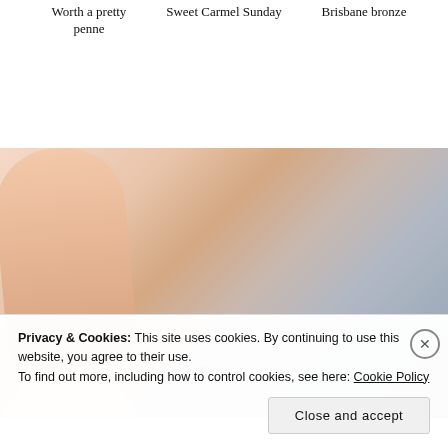Worth a pretty penne   Sweet Carmel Sunday   Brisbane bronze
[Figure (photo): Close-up photograph of three fingers with nail polish, with handwritten-style text 'Sweet Carmel Sunday' visible on the fingers]
Privacy & Cookies: This site uses cookies. By continuing to use this website, you agree to their use.
To find out more, including how to control cookies, see here: Cookie Policy
Close and accept